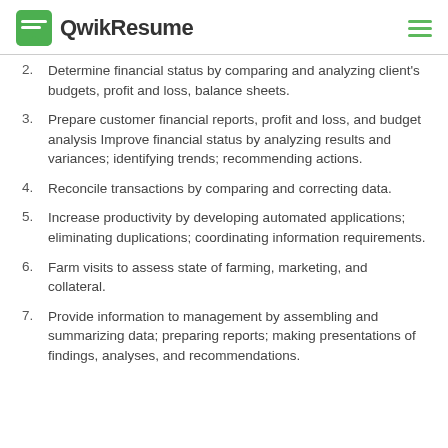QwikResume
2. Determine financial status by comparing and analyzing client's budgets, profit and loss, balance sheets.
3. Prepare customer financial reports, profit and loss, and budget analysis Improve financial status by analyzing results and variances; identifying trends; recommending actions.
4. Reconcile transactions by comparing and correcting data.
5. Increase productivity by developing automated applications; eliminating duplications; coordinating information requirements.
6. Farm visits to assess state of farming, marketing, and collateral.
7. Provide information to management by assembling and summarizing data; preparing reports; making presentations of findings, analyses, and recommendations.